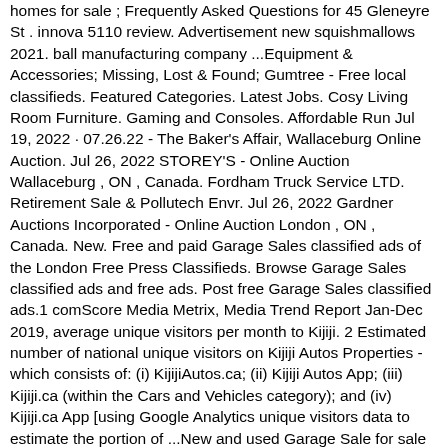homes for sale ; Frequently Asked Questions for 45 Gleneyre St . innova 5110 review. Advertisement new squishmallows 2021. ball manufacturing company ...Equipment & Accessories; Missing, Lost & Found; Gumtree - Free local classifieds. Featured Categories. Latest Jobs. Cosy Living Room Furniture. Gaming and Consoles. Affordable Run Jul 19, 2022 · 07.26.22 - The Baker's Affair, Wallaceburg Online Auction. Jul 26, 2022 STOREY'S - Online Auction Wallaceburg , ON , Canada. Fordham Truck Service LTD. Retirement Sale & Pollutech Envr. Jul 26, 2022 Gardner Auctions Incorporated - Online Auction London , ON , Canada. New. Free and paid Garage Sales classified ads of the London Free Press Classifieds. Browse Garage Sales classified ads and free ads. Post free Garage Sales classified ads.1 comScore Media Metrix, Media Trend Report Jan-Dec 2019, average unique visitors per month to Kijiji. 2 Estimated number of national unique visitors on Kijiji Autos Properties - which consists of: (i) KijijiAutos.ca; (ii) Kijiji Autos App; (iii) Kijiji.ca (within the Cars and Vehicles category); and (iv) Kijiji.ca App [using Google Analytics unique visitors data to estimate the portion of ...New and used Garage Sale for sale in London, Ontario on Facebook Marketplace. Find great deals and sell your items for free. Welcome to the world's largest site for garage sale ads! Every month tens of thousands of yard sale fanatics come here in search of garage sale listings. We at Yard Sale Search work furiously to ensure that over 7 gazillion yard sales are posted every year, in